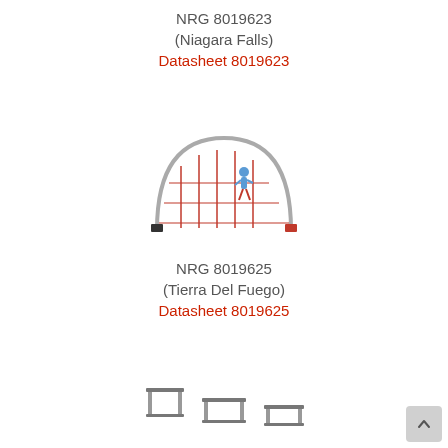NRG 8019623
(Niagara Falls)
Datasheet 8019623
[Figure (illustration): Playground equipment: arch climbing structure with ropes and a child figure climbing, with red accents and dark end posts]
NRG 8019625
(Tierra Del Fuego)
Datasheet 8019625
[Figure (illustration): Playground equipment: three balance/step benches in a row, low horizontal bars on short posts, metallic grey color]